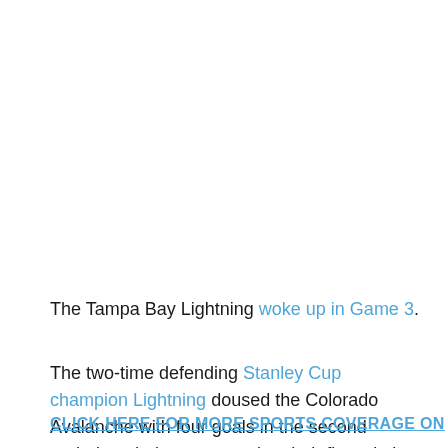The Tampa Bay Lightning woke up in Game 3.
The two-time defending Stanley Cup champion Lightning doused the Colorado Avalanche with four goals in the second period on their way to getting their first win in the series, 6-2.
CLICK HERE FOR MORE SPORTS COVERAGE ON